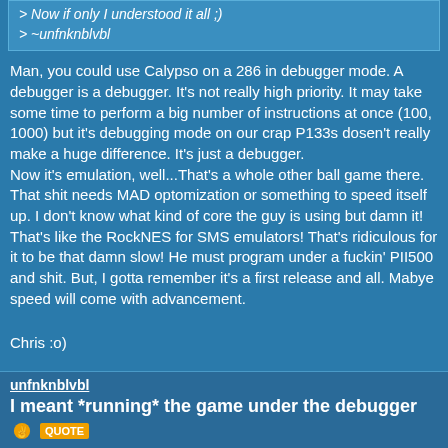> Now if only I understood it all ;)
> ~unfnknblvbl
Man, you could use Calypso on a 286 in debugger mode. A debugger is a debugger. It's not really high priority. It may take some time to perform a big number of instructions at once (100, 1000) but it's debugging mode on our crap P133s dosen't really make a huge difference. It's just a debugger.
Now it's emulation, well...That's a whole other ball game there. That shit needs MAD optomization or something to speed itself up. I don't know what kind of core the guy is using but damn it! That's like the RockNES for SMS emulators! That's ridiculous for it to be that damn slow! He must program under a fuckin' PII500 and shit. But, I gotta remember it's a first release and all. Mabye speed will come with advancement.
Chris :o)
unfnknblvbl
I meant *running* the game under the debugger